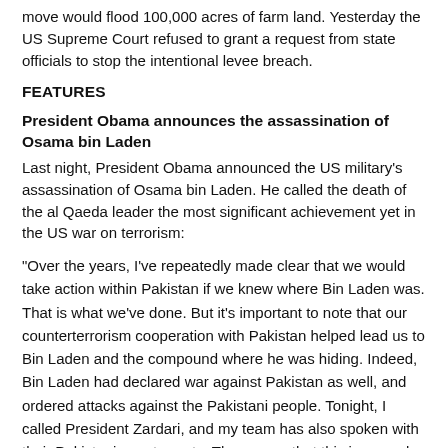move would flood 100,000 acres of farm land. Yesterday the US Supreme Court refused to grant a request from state officials to stop the intentional levee breach.
FEATURES
President Obama announces the assassination of Osama bin Laden
Last night, President Obama announced the US military's assassination of Osama bin Laden. He called the death of the al Qaeda leader the most significant achievement yet in the US war on terrorism:
“Over the years, I’ve repeatedly made clear that we would take action within Pakistan if we knew where Bin Laden was. That is what we’ve done. But it’s important to note that our counterterrorism cooperation with Pakistan helped lead us to Bin Laden and the compound where he was hiding. Indeed, Bin Laden had declared war against Pakistan as well, and ordered attacks against the Pakistani people. Tonight, I called President Zardari, and my team has also spoken with their Pakistani counterparts. They agree that this is a good and historic day for both of our nations. And going forward, it is essential that Pakistan continue to join us in the fight against al Qaeda and its affiliates.”